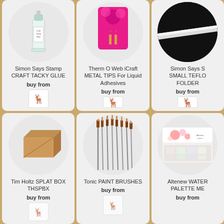[Figure (photo): Craft Tacky Glue bottle product photo on white circle background]
Simon Says Stamp CRAFT TACKY GLUE
buy from
[Figure (logo): Simon Says Stamp deer logo]
[Figure (photo): Therm O Web iCraft Metal Tips for Liquid Adhesives product in pink packaging on white circle background]
Therm O Web iCraft METAL TIPS For Liquid Adhesives
buy from
[Figure (logo): Simon Says Stamp deer logo]
[Figure (photo): Simon Says Stamp Small Teflon Folder product photo partially cropped on white circle background]
Simon Says S SMALL TEFLO FOLDER
buy from
[Figure (logo): Simon Says Stamp deer logo]
[Figure (photo): Tim Holtz Splat Box cardboard organizer photo on white circle background]
Tim Holtz SPLAT BOX THSPBX
buy from
[Figure (logo): Simon Says Stamp deer logo partially visible]
[Figure (photo): Tonic Paint Brushes set of multiple brushes fanned out on white circle background]
Tonic PAINT BRUSHES
buy from
[Figure (logo): Simon Says Stamp deer logo partially visible]
[Figure (photo): Altenew Watercolor Palette product partially cropped on white circle background]
Altenew WATER PALETTE ME
buy from